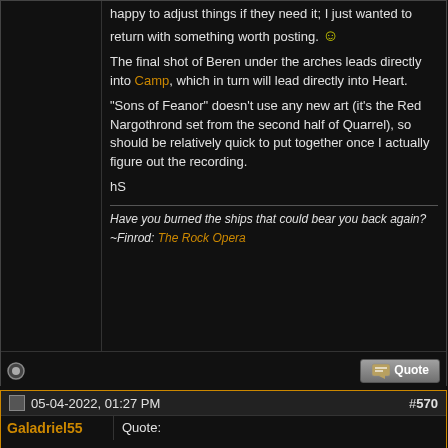happy to adjust things if they need it; I just wanted to return with something worth posting. :)
The final shot of Beren under the arches leads directly into Camp, which in turn will lead directly into Heart.
"Sons of Feanor" doesn't use any new art (it's the Red Nargothrond set from the second half of Quarrel), so should be relatively quick to put together once I actually figure out the recording.
hS
Have you burned the ships that could bear you back again? ~Finrod: The Rock Opera
05-04-2022, 01:27 PM
#570
Galadriel55
Quote: